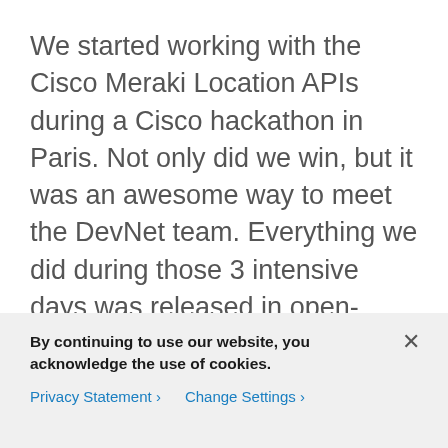We started working with the Cisco Meraki Location APIs during a Cisco hackathon in Paris. Not only did we win, but it was an awesome way to meet the DevNet team. Everything we did during those 3 intensive days was released in open-source.  Since then, we constantly kept improving it, still in open-source, and it turned into a complete indoor location framework. We truly believe in the power of open-source to accelerate the development of a framework and to speed up its adoption by the developer community. If you'd like to know more, take a look at indoorlocation.io. In particular, you might
By continuing to use our website, you acknowledge the use of cookies.
Privacy Statement › Change Settings ›